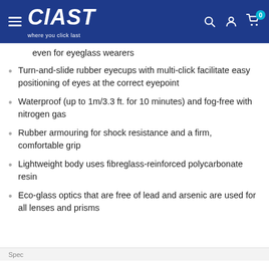CLAST — where you click last
even for eyeglass wearers
Turn-and-slide rubber eyecups with multi-click facilitate easy positioning of eyes at the correct eyepoint
Waterproof (up to 1m/3.3 ft. for 10 minutes) and fog-free with nitrogen gas
Rubber armouring for shock resistance and a firm, comfortable grip
Lightweight body uses fibreglass-reinforced polycarbonate resin
Eco-glass optics that are free of lead and arsenic are used for all lenses and prisms
Spec